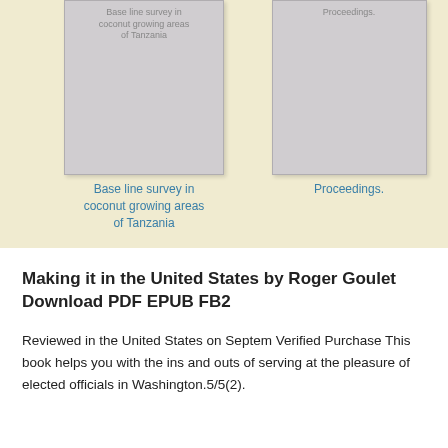[Figure (illustration): Book cover thumbnail for 'Base line survey in coconut growing areas of Tanzania' — gray placeholder cover with small text at top]
Base line survey in coconut growing areas of Tanzania
[Figure (illustration): Book cover thumbnail for 'Proceedings.' — gray placeholder cover with small text at top]
Proceedings.
Making it in the United States by Roger Goulet Download PDF EPUB FB2
Reviewed in the United States on Septem Verified Purchase This book helps you with the ins and outs of serving at the pleasure of elected officials in Washington.5/5(2).